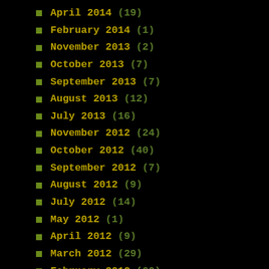April 2014 (19)
February 2014 (1)
November 2013 (2)
October 2013 (7)
September 2013 (7)
August 2013 (12)
July 2013 (16)
November 2012 (24)
October 2012 (40)
September 2012 (7)
August 2012 (9)
July 2012 (14)
May 2012 (1)
April 2012 (9)
March 2012 (29)
February 2012 (60)
January 2012 (96)
December 2011 (29)
November 2011 (3)
October 2011 (8)
September 2011 (25)